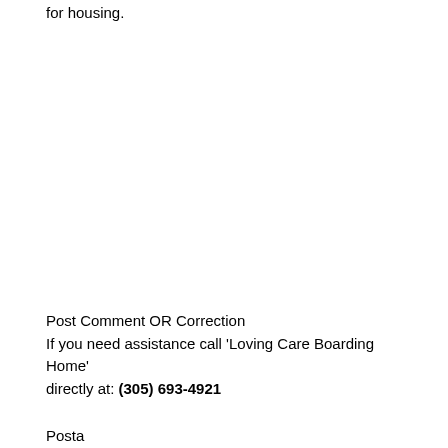for housing.
Post Comment OR Correction
If you need assistance call 'Loving Care Boarding Home' directly at: (305) 693-4921
(partial cut-off text at bottom)